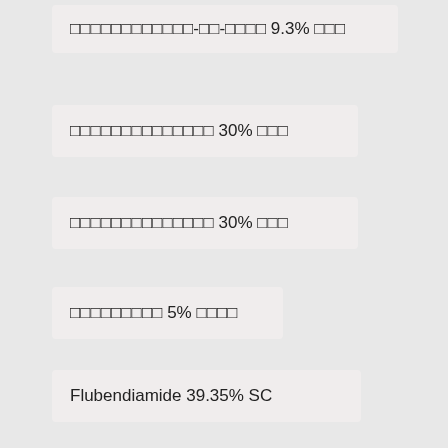□□□□□□□□□□□□-□□-□□□□ 9.3% □□□
□□□□□□□□□□□□□□ 30% □□□
□□□□□□□□□□□□□□ 30% □□□
□□□□□□□□□ 5% □□□□
Flubendiamide 39.35% SC
Flubendiamide 39.35% SC
Flusilazole 40% □□□
□□□□□□□□□□□ 54% SL
□□□□□□□□□□□□□□ 5% □□□□